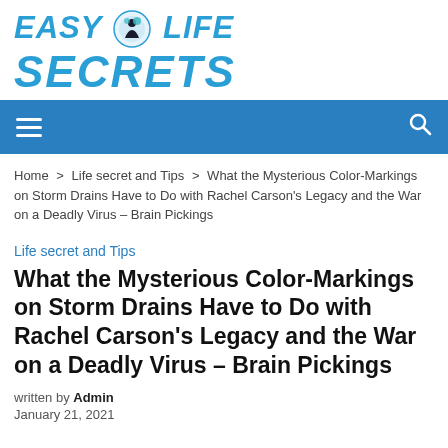[Figure (logo): Easy Life Secrets logo with stylized text in blue italic bold uppercase and a figure icon]
Navigation bar with hamburger menu and search icon
Home > Life secret and Tips > What the Mysterious Color-Markings on Storm Drains Have to Do with Rachel Carson's Legacy and the War on a Deadly Virus – Brain Pickings
Life secret and Tips
What the Mysterious Color-Markings on Storm Drains Have to Do with Rachel Carson's Legacy and the War on a Deadly Virus – Brain Pickings
written by Admin
January 21, 2021